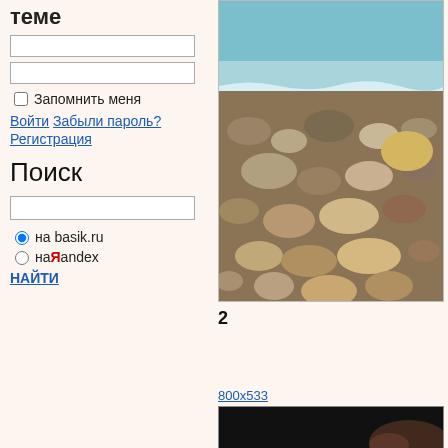теме
(input fields for login)
Запомнить меня
Войти Забыли пароль? Регистрация
Поиск
(search input field)
на basik.ru
на Яndex
НАЙТИ
[Figure (photo): Rocky beach with stones and turquoise sea water]
2
800x533
[Figure (photo): Dark photo, partially visible]